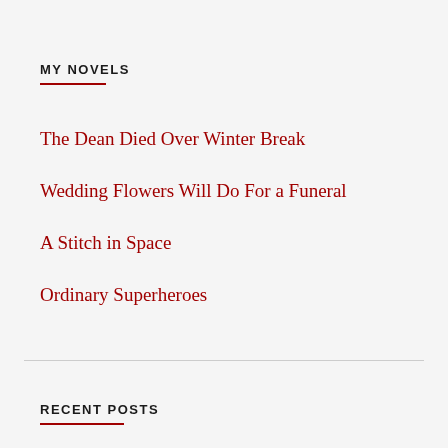MY NOVELS
The Dean Died Over Winter Break
Wedding Flowers Will Do For a Funeral
A Stitch in Space
Ordinary Superheroes
RECENT POSTS